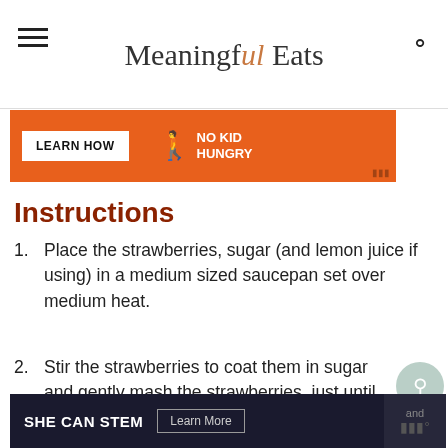Meaningful Eats
[Figure (screenshot): Orange advertisement banner with LEARN HOW button and No Kid Hungry logo]
Instructions
Place the strawberries, sugar (and lemon juice if using) in a medium sized saucepan set over medium heat.
Stir the strawberries to coat them in sugar and gently mash the strawberries, just until they begin to release a bit of liquid.
[Figure (screenshot): Dark blue advertisement banner with SHE CAN STEM text and Learn More button]